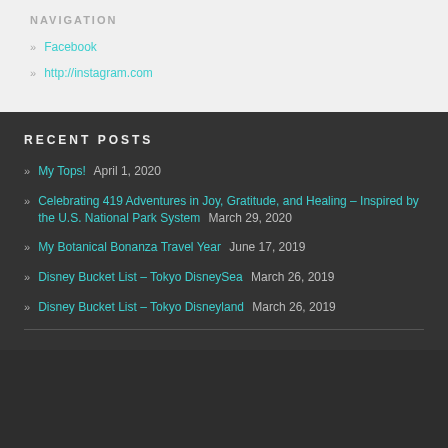NAVIGATION
» Facebook
» http://instagram.com
RECENT POSTS
» My Tops!  April 1, 2020
» Celebrating 419 Adventures in Joy, Gratitude, and Healing – Inspired by the U.S. National Park System  March 29, 2020
» My Botanical Bonanza Travel Year  June 17, 2019
» Disney Bucket List – Tokyo DisneySea  March 26, 2019
» Disney Bucket List – Tokyo Disneyland  March 26, 2019